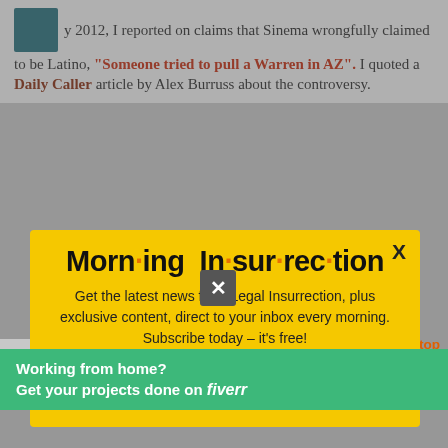y 2012, I reported on claims that Sinema wrongfully claimed to be Latino, "Someone tried to pull a Warren in AZ". I quoted a Daily Caller article by Alex Burruss about the controversy.
[Figure (infographic): Yellow modal popup for Morning Insurrection newsletter subscription with close button X, title 'Morning Insurrection', body text 'Get the latest news from Legal Insurrection, plus exclusive content, direct to your inbox every morning. Subscribe today – it's free!', and orange JOIN NOW button with envelope icon.]
Association of Latino Elected (NALEO) and Appointed Officials claims it justifies the information going to print.
[Figure (infographic): Green Fiverr advertisement banner: 'Working from home? Get your projects done on fiverr']